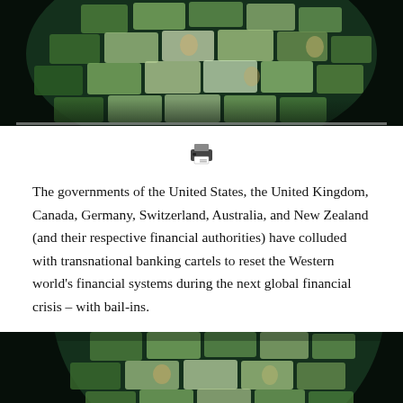[Figure (photo): Globe made of international currency banknotes on dark background, upper portion visible]
[Figure (other): Printer icon]
The governments of the United States, the United Kingdom, Canada, Germany, Switzerland, Australia, and New Zealand (and their respective financial authorities) have colluded with transnational banking cartels to reset the Western world’s financial systems during the next global financial crisis – with bail-ins.
[Figure (photo): Globe made of international currency banknotes on dark background, lower portion visible at bottom of page]